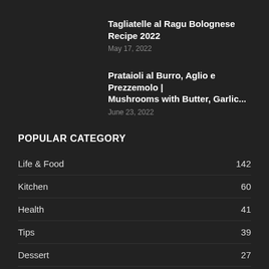Tagliatelle al Ragu Bolognese Recipe 2022
May 17, 2022
Prataioli al Burro, Aglio e Prezzemolo | Mushrooms with Butter, Garlic...
June 23, 2022
POPULAR CATEGORY
Life & Food  142
Kitchen  60
Health  41
Tips  39
Dessert  27